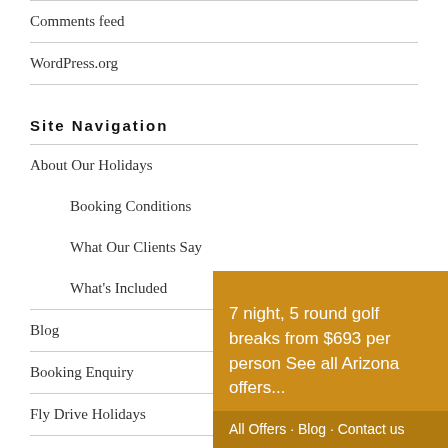Comments feed
WordPress.org
Site Navigation
About Our Holidays
Booking Conditions
What Our Clients Say
What's Included
Blog
Booking Enquiry
Fly Drive Holidays
Golf breaks
[Figure (infographic): Orange promotional overlay box with text '7 night, 5 round golf breaks from $693 per person See all Arizona offers...' and a darker orange footer bar reading 'All Offers · Blog · Contact us']